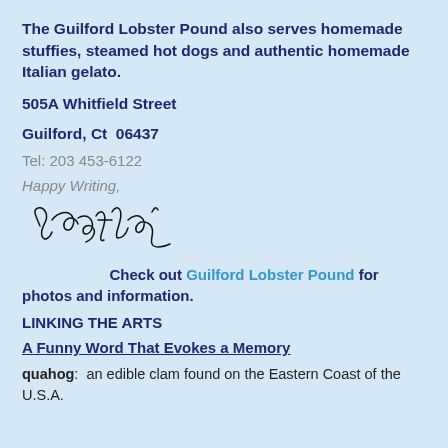The Guilford Lobster Pound also serves homemade stuffies, steamed hot dogs and authentic homemade Italian gelato.
505A Whitfield Street
Guilford, Ct  06437
Tel: 203 453-6122
Happy Writing,
[Figure (illustration): Handwritten cursive signature reading 'Cynthia']
Check out Guilford Lobster Pound for photos and information.
LINKING THE ARTS
A Funny Word That Evokes a Memory
quahog:  an edible clam found on the Eastern Coast of the U.S.A.